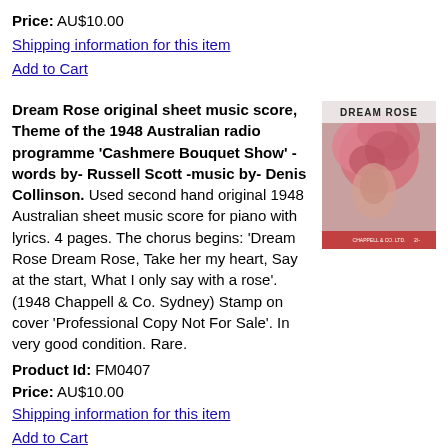Price: AU$10.00
Shipping information for this item
Add to Cart
Dream Rose original sheet music score, Theme of the 1948 Australian radio programme 'Cashmere Bouquet Show' - words by- Russell Scott -music by- Denis Collinson. Used second hand original 1948 Australian sheet music score for piano with lyrics. 4 pages. The chorus begins: 'Dream Rose Dream Rose, Take her my heart, Say at the start, What I only say with a rose'. (1948 Chappell & Co. Sydney) Stamp on cover 'Professional Copy Not For Sale'. In very good condition. Rare.
[Figure (photo): Cover of Dream Rose sheet music showing a woman's face surrounded by roses, with text 'DREAM ROSE' at top and publisher details at bottom.]
Product Id: FM0407
Price: AU$10.00
Shipping information for this item
Add to Cart